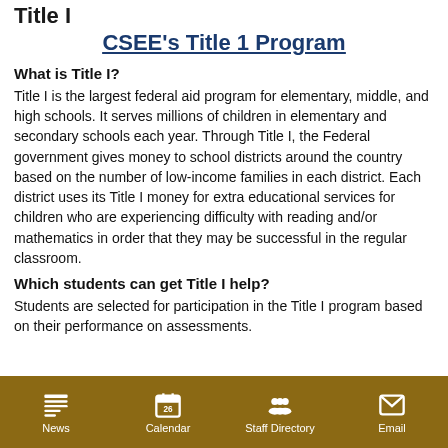Title I
CSEE's Title 1 Program
What is Title I?
Title I is the largest federal aid program for elementary, middle, and high schools. It serves millions of children in elementary and secondary schools each year. Through Title I, the Federal government gives money to school districts around the country based on the number of low-income families in each district. Each district uses its Title I money for extra educational services for children who are experiencing difficulty with reading and/or mathematics in order that they may be successful in the regular classroom.
Which students can get Title I help?
Students are selected for participation in the Title I program based on their performance on assessments.
News  Calendar  Staff Directory  Email